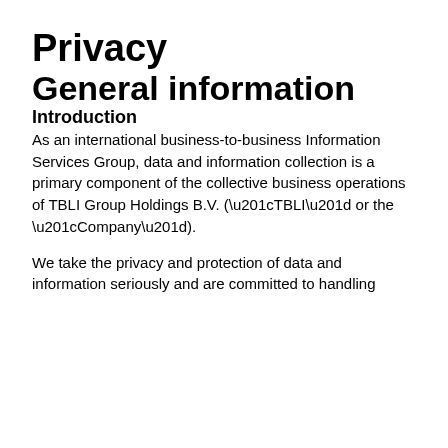Privacy
General information
Introduction
As an international business-to-business Information Services Group, data and information collection is a primary component of the collective business operations of TBLI Group Holdings B.V. (“TBLI” or the “Company”).
We take the privacy and protection of data and information seriously and are committed to handling